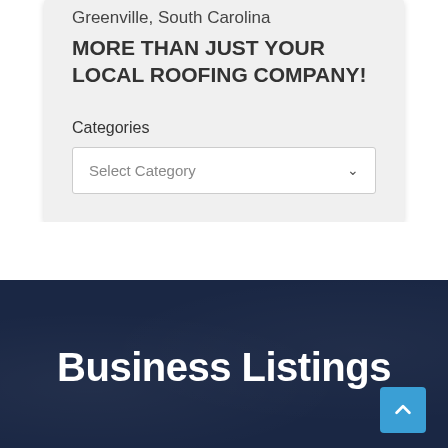Greenville, South Carolina
MORE THAN JUST YOUR LOCAL ROOFING COMPANY!
Categories
Select Category
Business Listings